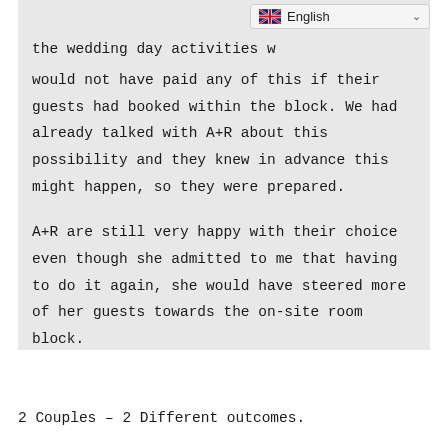the wedding day activities w...
would not have paid any of this if their guests had booked within the block. We had already talked with A+R about this possibility and they knew in advance this might happen, so they were prepared.
A+R are still very happy with their choice even though she admitted to me that having to do it again, she would have steered more of her guests towards the on-site room block.
2 Couples – 2 Different outcomes.